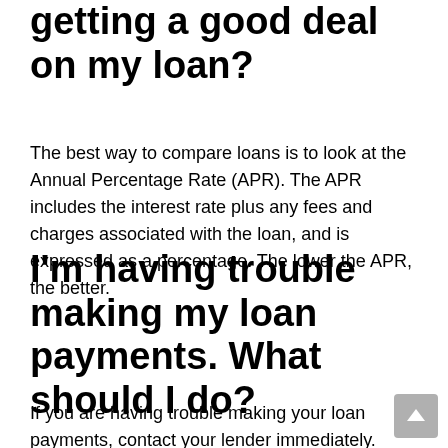getting a good deal on my loan?
The best way to compare loans is to look at the Annual Percentage Rate (APR). The APR includes the interest rate plus any fees and charges associated with the loan, and is expressed as a percentage. The lower the APR, the better.
I'm having trouble making my loan payments. What should I do?
If you are having trouble making your loan payments, contact your lender immediately. They may be able to work out a new